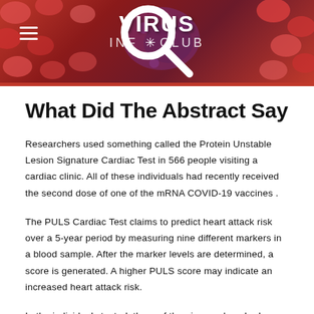[Figure (screenshot): Website header banner for 'Virus Info Club' with a red/dark background showing blood cells and virus imagery. White hamburger menu icon on left, site logo in center with 'VIRUS' in large text above 'INF ✳ CLUB', and a search icon on the right.]
What Did The Abstract Say
Researchers used something called the Protein Unstable Lesion Signature Cardiac Test in 566 people visiting a cardiac clinic. All of these individuals had recently received the second dose of one of the mRNA COVID-19 vaccines .
The PULS Cardiac Test claims to predict heart attack risk over a 5-year period by measuring nine different markers in a blood sample. After the marker levels are determined, a score is generated. A higher PULS score may indicate an increased heart attack risk.
In the individuals tested, three of the nine markers had increased following vaccination. These markers were